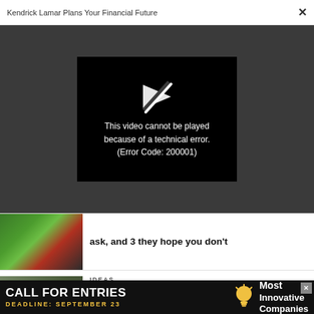Kendrick Lamar Plans Your Financial Future ×
[Figure (screenshot): Video player showing error message: 'This video cannot be played because of a technical error. (Error Code: 200001)' on a black background with a broken play icon, set against a dark gray background.]
[Figure (photo): Thumbnail image with green and red tones, appears to show legs in red pants against a green background.]
ask, and 3 they hope you don't
[Figure (photo): Thumbnail image showing storm/flood damage with debris and fallen trees.]
IDEAS
America's biggest financial threat isn't government spending. It's the
[Figure (infographic): Advertisement banner: CALL FOR ENTRIES / DEADLINE: SEPTEMBER 23 / Most Innovative Companies (with lightbulb icon)]